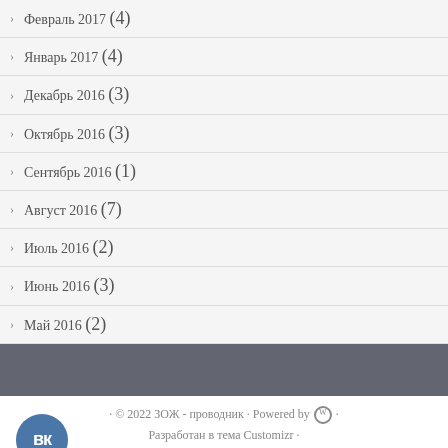Февраль 2017 (4)
Январь 2017 (4)
Декабрь 2016 (3)
Октябрь 2016 (3)
Сентябрь 2016 (1)
Август 2016 (7)
Июль 2016 (2)
Июнь 2016 (3)
Май 2016 (2)
· © 2022 ЗОЖ - проводник · Powered by [WP] · Разработан в тема Customizr · Вернуться наверх